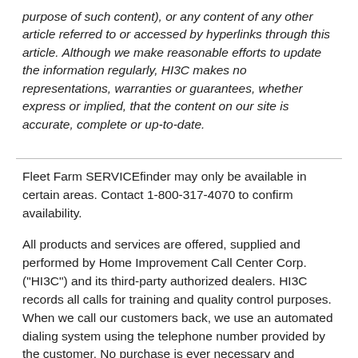purpose of such content), or any content of any other article referred to or accessed by hyperlinks through this article. Although we make reasonable efforts to update the information regularly, HI3C makes no representations, warranties or guarantees, whether express or implied, that the content on our site is accurate, complete or up-to-date.
Fleet Farm SERVICEfinder may only be available in certain areas. Contact 1-800-317-4070 to confirm availability.
All products and services are offered, supplied and performed by Home Improvement Call Center Corp. ("HI3C") and its third-party authorized dealers. HI3C records all calls for training and quality control purposes. When we call our customers back, we use an automated dialing system using the telephone number provided by the customer. No purchase is ever necessary and customers can call us directly to obtain a free estimate at 1-800-317-